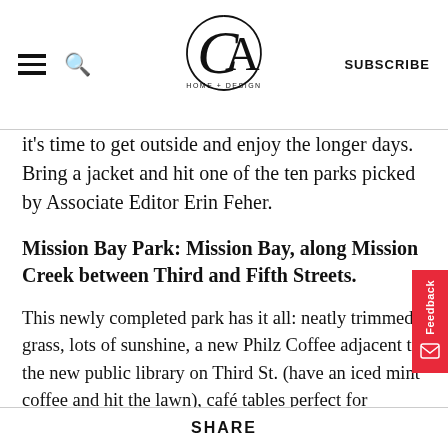CA HOME + DESIGN | SUBSCRIBE
it's time to get outside and enjoy the longer days. Bring a jacket and hit one of the ten parks picked by Associate Editor Erin Feher.
Mission Bay Park: Mission Bay, along Mission Creek between Third and Fifth Streets.
This newly completed park has it all: neatly trimmed grass, lots of sunshine, a new Philz Coffee adjacent to the new public library on Third St. (have an iced mint coffee and hit the lawn), café tables perfect for picnicking, the cleanest public bathrooms ever and views of the Bay and the creek, which is filled with sun-
SHARE